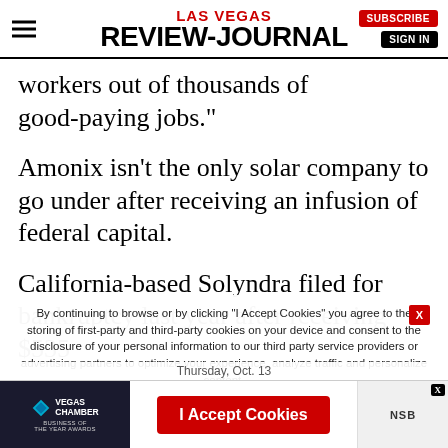LAS VEGAS REVIEW-JOURNAL
workers out of thousands of good-paying jobs."
Amonix isn't the only solar company to go under after receiving an infusion of federal capital.
California-based Solyndra filed for bankruptcy last year after receiving $535
By continuing to browse or by clicking "I Accept Cookies" you agree to the storing of first-party and third-party cookies on your device and consent to the disclosure of your personal information to our third party service providers or advertising partners to optimize your experience, analyze traffic and personalize content.
I Accept Cookies
Thursday, Oct. 13